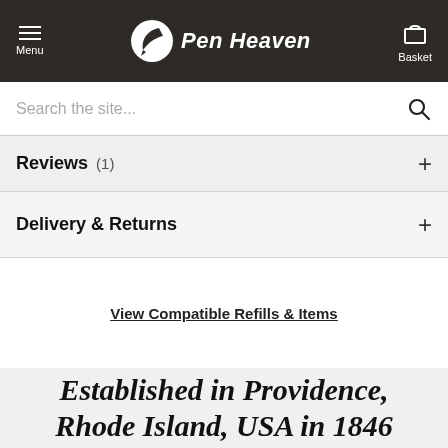Menu | Pen Heaven | Basket
Search the site...
Reviews (1)
Delivery & Returns
View Compatible Refills & Items
Established in Providence, Rhode Island, USA in 1846